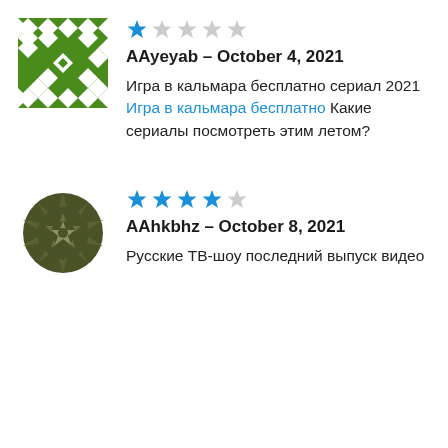[Figure (illustration): Green geometric mosaic avatar icon with diamond and triangle patterns]
[Figure (other): Star rating: 1 out of 5 stars (1 blue star, 4 grey stars)]
AAyeyab – October 4, 2021
Игра в кальмара бесплатно сериал 2021 Игра в кальмара бесплатно Какие сериалы посмотреть этим летом?
[Figure (illustration): Dark olive green geometric mandala/floral avatar icon]
[Figure (other): Star rating: 4 out of 5 stars (4 blue stars, 1 grey star)]
AAhkbhz – October 8, 2021
Русские ТВ-шоу последний выпуск видео